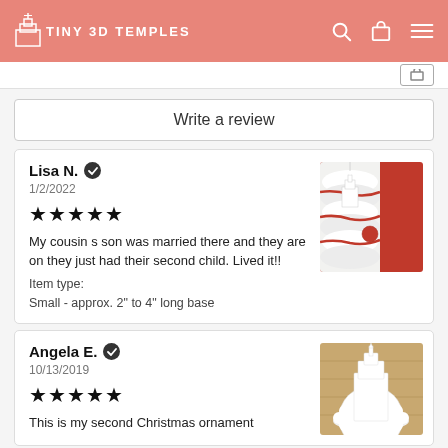TINY 3D TEMPLES
Write a review
Lisa N. ✔ 1/2/2022 ★★★★★ My cousin s son was married there and they are on they just had their second child. Lived it!! Item type: Small - approx. 2" to 4" long base
[Figure (photo): Photo of a small white 3D printed temple ornament hanging on a white and red Christmas tree]
Angela E. ✔ 10/13/2019 ★★★★★ This is my second Christmas ornament
[Figure (photo): Photo of a white 3D printed temple ornament on a wooden surface]